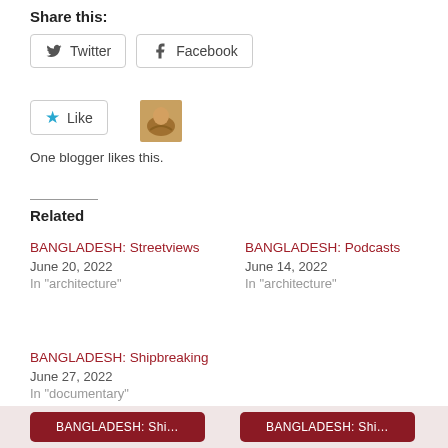Share this:
Twitter   Facebook
[Figure (other): Like button with star icon and blogger avatar thumbnail]
One blogger likes this.
Related
BANGLADESH: Streetviews
June 20, 2022
In "architecture"
BANGLADESH: Podcasts
June 14, 2022
In "architecture"
BANGLADESH: Shipbreaking
June 27, 2022
In "documentary"
BANGLADESH: Shi... | BANGLADESH: Shi...